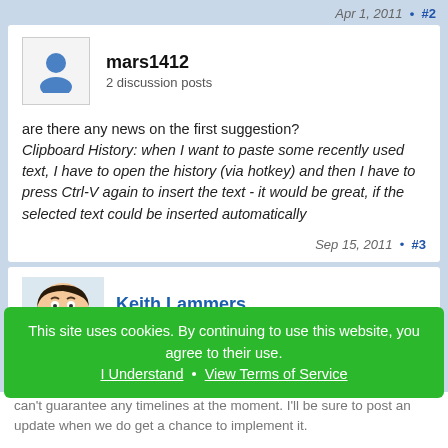Apr 1, 2011 • #2
mars1412
2 discussion posts
are there any news on the first suggestion?
Clipboard History: when I want to paste some recently used text, I have to open the history (via hotkey) and then I have to press Ctrl-V again to insert the text - it would be great, if the selected text could be inserted automatically
Sep 15, 2011 • #3
Keith Lammers...
297,348 PRO
This site uses cookies. By continuing to use this website, you agree to their use.
I Understand • View Terms of Service
can't guarantee any timelines at the moment. I'll be sure to post an update when we do get a chance to implement it.